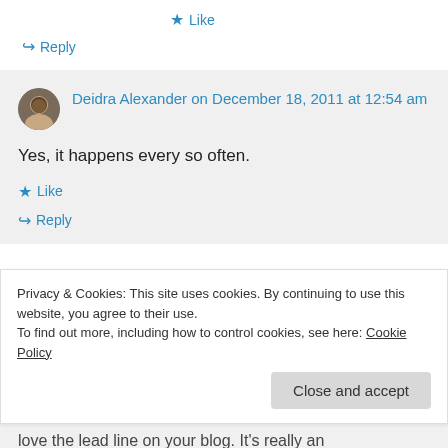★ Like
↪ Reply
Deidra Alexander on December 18, 2011 at 12:54 am
Yes, it happens every so often.
★ Like
↪ Reply
Privacy & Cookies: This site uses cookies. By continuing to use this website, you agree to their use.
To find out more, including how to control cookies, see here: Cookie Policy
Close and accept
love the lead line on your blog. It's really an